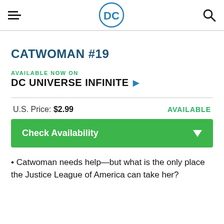DC Comics header with hamburger menu, DC logo, and search icon
CATWOMAN #19
AVAILABLE NOW ON
DC UNIVERSE INFINITE ▶
U.S. Price: $2.99    AVAILABLE
Check Availability
Catwoman needs help—but what is the only place the Justice League of America can take her?